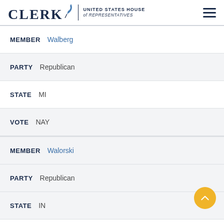CLERK United States House of Representatives
MEMBER Walberg
PARTY Republican
STATE MI
VOTE NAY
MEMBER Walorski
PARTY Republican
STATE IN